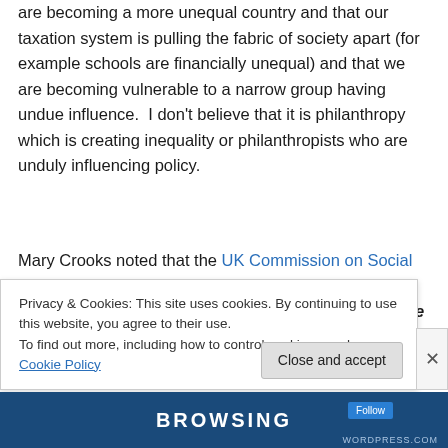are becoming a more unequal country and that our taxation system is pulling the fabric of society apart (for example schools are financially unequal) and that we are becoming vulnerable to a narrow group having undue influence.  I don't believe that it is philanthropy which is creating inequality or philanthropists who are unduly influencing policy.
Mary Crooks noted that the UK Commission on Social Justice stated that "communities are not strong because they are rich, but are rich because they are strong" and that she prefers the term "social investment" to
Privacy & Cookies: This site uses cookies. By continuing to use this website, you agree to their use.
To find out more, including how to control cookies, see here: Cookie Policy
Close and accept